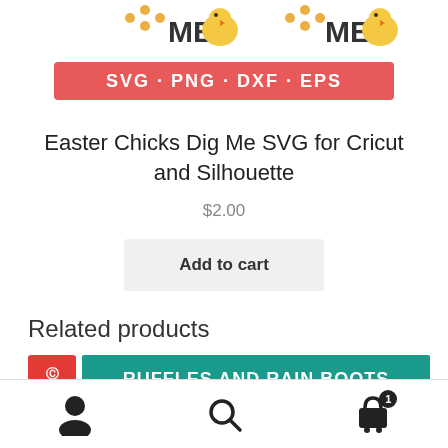[Figure (illustration): Product image showing Easter Chicks Dig Me SVG design with 'SVG - PNG - DXF - EPS' banner in red/pink]
Easter Chicks Dig Me SVG for Cricut and Silhouette
$2.00
Add to cart
Related products
[Figure (illustration): Ruffles and Rain Boots product banner in teal/green with Save button]
User account icon, Search icon, Cart icon with badge showing 1